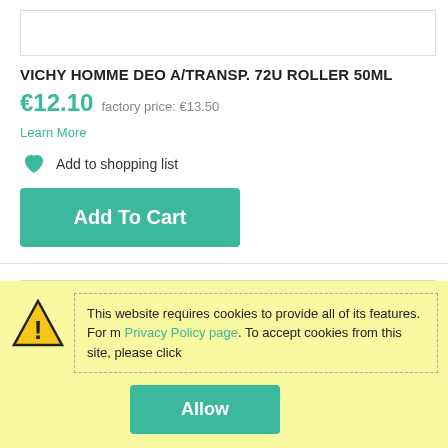[Figure (other): Product image placeholder (white box with border)]
VICHY HOMME DEO A/TRANSP. 72U ROLLER 50ML
€12.10  factory price: €13.50
Learn More
Add to shopping list
Add To Cart
[Figure (other): Second product image placeholder (white box with border)]
This website requires cookies to provide all of its features. For m Privacy Policy page. To accept cookies from this site, please click
Allow